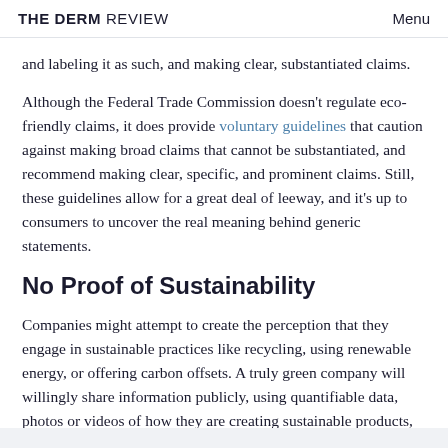THE DERM REVIEW   Menu
and labeling it as such, and making clear, substantiated claims.
Although the Federal Trade Commission doesn't regulate eco-friendly claims, it does provide voluntary guidelines that caution against making broad claims that cannot be substantiated, and recommend making clear, specific, and prominent claims. Still, these guidelines allow for a great deal of leeway, and it's up to consumers to uncover the real meaning behind generic statements.
No Proof of Sustainability
Companies might attempt to create the perception that they engage in sustainable practices like recycling, using renewable energy, or offering carbon offsets. A truly green company will willingly share information publicly, using quantifiable data, photos or videos of how they are creating sustainable products, and seals of approval from